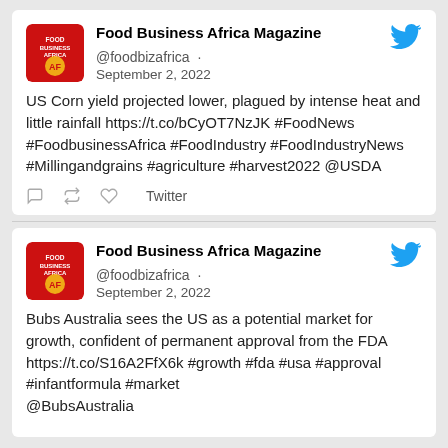[Figure (screenshot): Food Business Africa Magazine Twitter/social media post 1: US Corn yield projected lower, plagued by intense heat and little rainfall. September 2, 2022.]
US Corn yield projected lower, plagued by intense heat and little rainfall https://t.co/bCyOT7NzJK #FoodNews #FoodbusinessAfrica #FoodIndustry #FoodIndustryNews #Millingandgrains #agriculture #harvest2022 @USDA
[Figure (screenshot): Food Business Africa Magazine Twitter/social media post 2: Bubs Australia sees the US as a potential market for growth, confident of permanent approval from the FDA. September 2, 2022.]
Bubs Australia sees the US as a potential market for growth, confident of permanent approval from the FDA https://t.co/S16A2FfX6k #growth #fda #usa #approval #infantformula #market @BubsAustralia